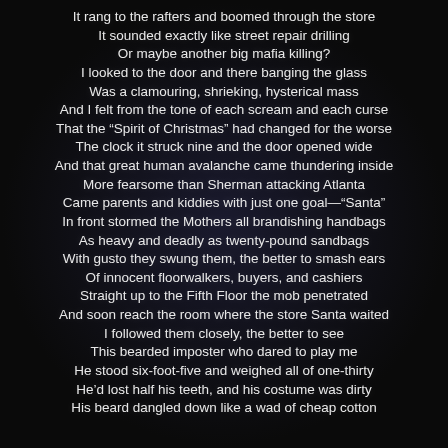It rang to the rafters and boomed through the store
It sounded exactly like street repair drilling
Or maybe another big mafia killing?
I looked to the door and there banging the glass
Was a clamouring, shrieking, hysterical mass
And I felt from the tone of each scream and each curse
That the “Spirit of Christmas” had changed for the worse
The clock it struck nine and the door opened wide
And that great human avalanche came thundering inside
More fearsome than Sherman attacking Atlanta
Came parents and kiddies with just one goal—“Santa”
In front stormed the Mothers all brandishing handbags
As heavy and deadly as twenty-pound sandbags
With gusto they swung them, the better to smash ears
Of innocent floorwalkers, buyers, and cashiers
Straight up to the Fifth Floor the mob penetrated
And soon reach the room where the store Santa waited
I followed them closely, the better to see
This bearded imposter who dared to play me
He stood six-foot-five and weighed all of one-thirty
He’d lost half his teeth, and his costume was dirty
His beard dangled down like a wad of cheap cotton